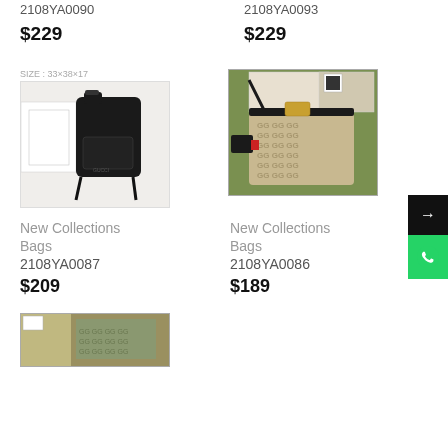2108YA0090
$229
2108YA0093
$229
[Figure (photo): Black backpack bag displayed with white boxes]
[Figure (photo): Beige/tan monogram handbag with gold hardware on green background]
New Collections
Bags
2108YA0087
$209
New Collections
Bags
2108YA0086
$189
[Figure (photo): Partial view of another bag at bottom of page]